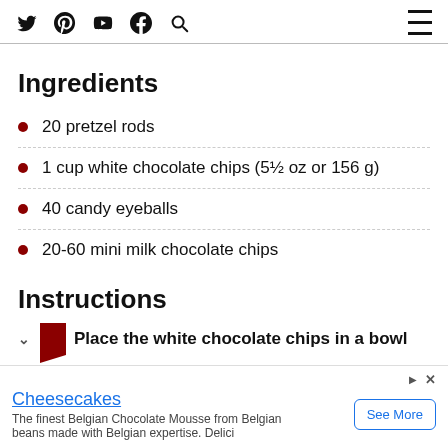Twitter Pinterest YouTube Facebook Search [hamburger menu]
Ingredients
20 pretzel rods
1 cup white chocolate chips (5½ oz or 156 g)
40 candy eyeballs
20-60 mini milk chocolate chips
Instructions
Place the white chocolate chips in a bowl
Cheesecakes
The finest Belgian Chocolate Mousse from Belgian beans made with Belgian expertise. Delici
See More